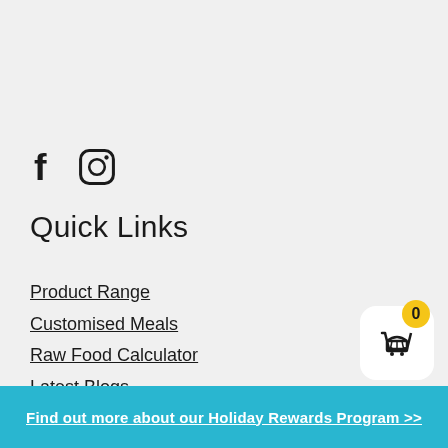[Figure (illustration): Social media icons: Facebook (f) and Instagram (camera) icons in black]
Quick Links
Product Range
Customised Meals
Raw Food Calculator
Latest Blogs
FAQ
[Figure (illustration): Shopping cart widget with yellow badge showing 0, white rounded square background with basket icon]
Find out more about our Holiday Rewards Program >>